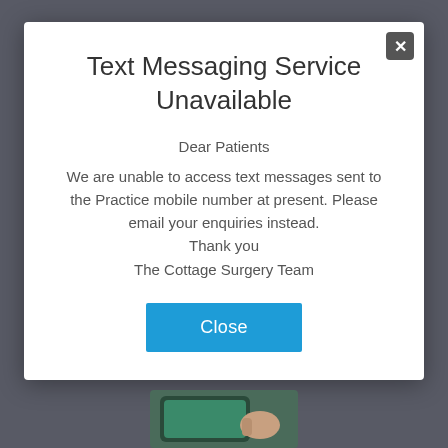Text Messaging Service Unavailable
Dear Patients
We are unable to access text messages sent to the Practice mobile number at present. Please email your enquiries instead. Thank you
The Cottage Surgery Team
Close
[Figure (photo): A hand holding a smartphone with a green background]
General Enquiries